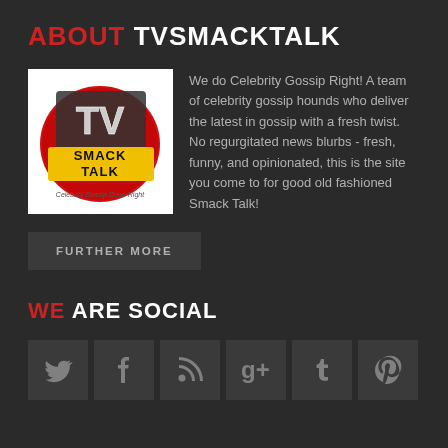ABOUT TVSMACKTALK
[Figure (logo): TV Smack Talk logo - red circular background with TV letters and Smack Talk banner, Celebrity Gossip Done Right tagline]
We do Celebrity Gossip Right! A team of celebrity gossip hounds who deliver the latest in gossip with a fresh twist. No regurgitated news blurbs - fresh, funny, and opinionated, this is the site you come to for good old fashioned Smack Talk!
FURTHER MORE
WE ARE SOCIAL
[Figure (infographic): Social media icons row: Twitter, Facebook, RSS, Google+, Tumblr, Pinterest]